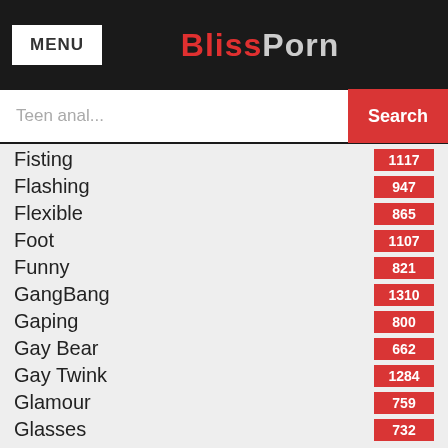MENU | BlissPorn
Teen anal... Search
Fisting 1117
Flashing 947
Flexible 865
Foot 1107
Funny 821
GangBang 1310
Gaping 800
Gay Bear 662
Gay Twink 1284
Glamour 759
Glasses 732